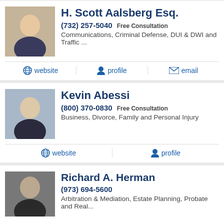H. Scott Aalsberg Esq.
(732) 257-5040 Free Consultation
Communications, Criminal Defense, DUI & DWI and Traffic ...
website | profile | email
Kevin Abessi
(800) 370-0830 Free Consultation
Business, Divorce, Family and Personal Injury
website | profile
Richard A. Herman
(973) 694-5600
Arbitration & Mediation, Estate Planning, Probate and Real...